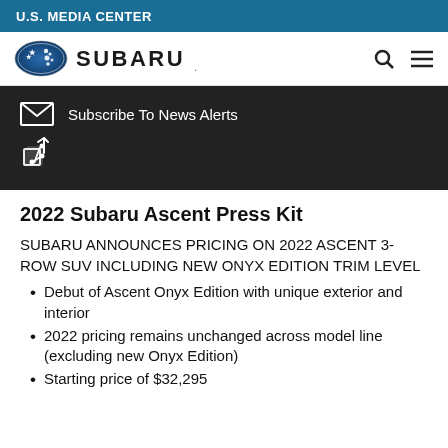U.S. MEDIA CENTER
[Figure (logo): Subaru logo: blue oval with stars and SUBARU wordmark, plus search and menu icons]
[Figure (infographic): Dark bar with Subscribe To News Alerts (envelope icon) and Share icon]
2022 Subaru Ascent Press Kit
SUBARU ANNOUNCES PRICING ON 2022 ASCENT 3-ROW SUV INCLUDING NEW ONYX EDITION TRIM LEVEL
Debut of Ascent Onyx Edition with unique exterior and interior
2022 pricing remains unchanged across model line (excluding new Onyx Edition)
Starting price of $32,295